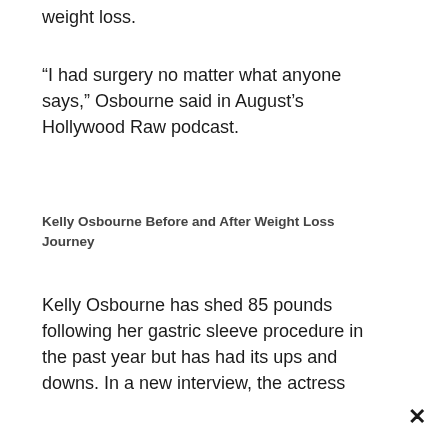weight loss.
“I had surgery no matter what anyone says,” Osbourne said in August’s Hollywood Raw podcast.
Kelly Osbourne Before and After Weight Loss Journey
Kelly Osbourne has shed 85 pounds following her gastric sleeve procedure in the past year but has had its ups and downs. In a new interview, the actress